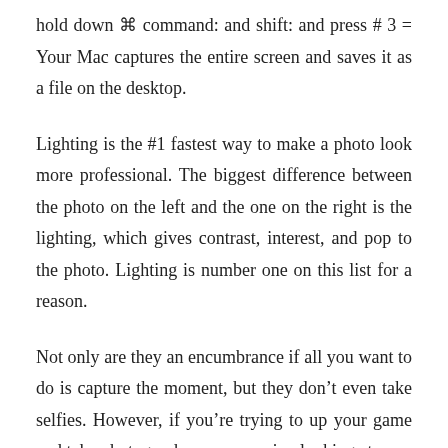hold down ⌘ command: and shift: and press # 3 = Your Mac captures the entire screen and saves it as a file on the desktop.
Lighting is the #1 fastest way to make a photo look more professional. The biggest difference between the photo on the left and the one on the right is the lighting, which gives contrast, interest, and pop to the photo. Lighting is number one on this list for a reason.
Not only are they an encumbrance if all you want to do is capture the moment, but they don't even take selfies. However, if you're trying to up your game and take photographs you can enjoy looking at ...